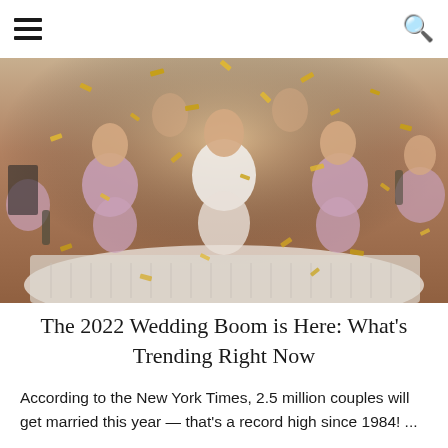hamburger menu icon | search icon
[Figure (photo): Group of women in pink satin pajamas and one in white sitting on a bed, laughing and celebrating with gold confetti falling around them in a hotel room setting.]
The 2022 Wedding Boom is Here: What's Trending Right Now
According to the New York Times, 2.5 million couples will get married this year — that's a record high since 1984! ...